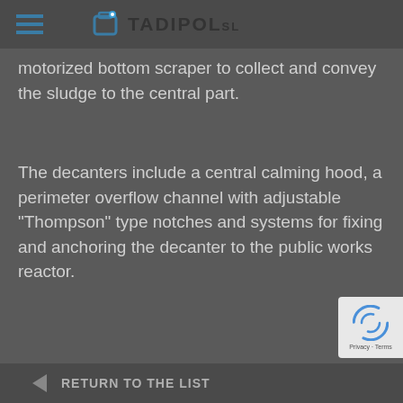TADIPOL sl
motorized bottom scraper to collect and convey the sludge to the central part.
The decanters include a central calming hood, a perimeter overflow channel with adjustable "Thompson" type notches and systems for fixing and anchoring the decanter to the public works reactor.
RETURN TO THE LIST